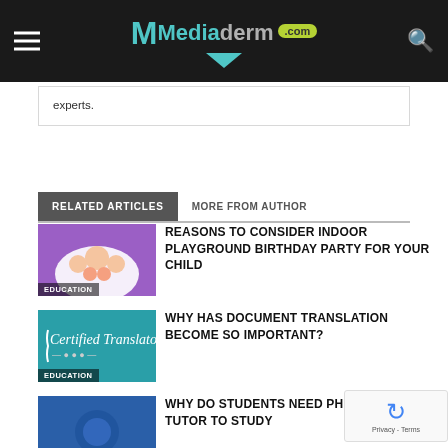Mediaderm.com
experts.
RELATED ARTICLES | MORE FROM AUTHOR
[Figure (photo): Family photo thumbnail with EDUCATION badge, purple background]
REASONS TO CONSIDER INDOOR PLAYGROUND BIRTHDAY PARTY FOR YOUR CHILD
[Figure (photo): Certified Translator logo on teal background with EDUCATION badge]
WHY HAS DOCUMENT TRANSLATION BECOME SO IMPORTANT?
[Figure (photo): Blue background article thumbnail]
WHY DO STUDENTS NEED PH AND MATH TUTOR TO STUDY